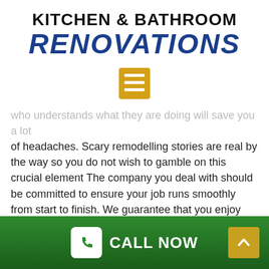KITCHEN & BATHROOM RENOVATIONS
[Figure (infographic): Gold/yellow menu hamburger icon — three white horizontal bars on a square yellow background]
who understands what they are doing will save you a lot of headaches. Scary remodelling stories are real by the way so you do not wish to gamble on this crucial element The company you deal with should be committed to ensure your job runs smoothly from start to finish. We guarantee that you enjoy this journey for your dream remodelled project.
Time Factor
A remodel can require time to be completed. This
[Figure (infographic): Green footer bar with a white rounded-square phone icon and CALL NOW text in white, plus a gold up-arrow button on the right]